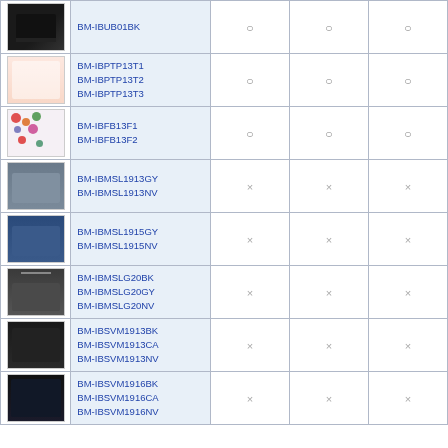| Image | Model | Col3 | Col4 | Col5 |
| --- | --- | --- | --- | --- |
| [img] | BM-IBUB01BK | ○ | ○ | ○ |
| [img] | BM-IBPTP13T1
BM-IBPTP13T2
BM-IBPTP13T3 | ○ | ○ | ○ |
| [img] | BM-IBFB13F1
BM-IBFB13F2 | ○ | ○ | ○ |
| [img] | BM-IBMSL1913GY
BM-IBMSL1913NV | × | × | × |
| [img] | BM-IBMSL1915GY
BM-IBMSL1915NV | × | × | × |
| [img] | BM-IBMSLG20BK
BM-IBMSLG20GY
BM-IBMSLG20NV | × | × | × |
| [img] | BM-IBSVM1913BK
BM-IBSVM1913CA
BM-IBSVM1913NV | × | × | × |
| [img] | BM-IBSVM1916BK
BM-IBSVM1916CA
BM-IBSVM1916NV | × | × | × |